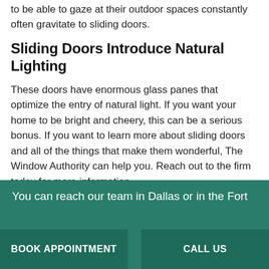natural sights that are nearby, too. People who want to be able to gaze at their outdoor spaces constantly often gravitate to sliding doors.
Sliding Doors Introduce Natural Lighting
These doors have enormous glass panes that optimize the entry of natural light. If you want your home to be bright and cheery, this can be a serious bonus. If you want to learn more about sliding doors and all of the things that make them wonderful, The Window Authority can help you. Reach out to the firm today for more information.
You can reach our team in Dallas or in the Fort
Book Appointment
Call Us